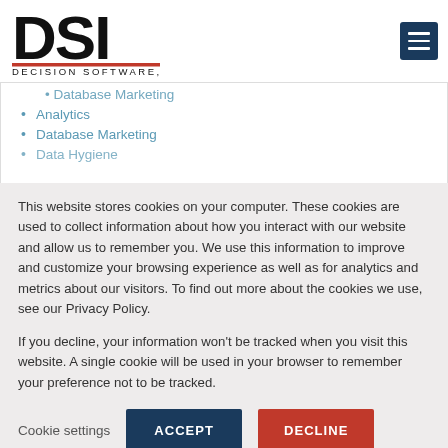[Figure (logo): DSI Decision Software Inc. logo — bold black letters DSI with red underline and small text DECISION SOFTWARE, INC.]
[Figure (other): Dark blue hamburger menu button with three white horizontal lines]
Database Marketing (partially visible, cut off at top)
Analytics
Database Marketing
Data Hygiene (partially visible, cut off at bottom)
This website stores cookies on your computer. These cookies are used to collect information about how you interact with our website and allow us to remember you. We use this information to improve and customize your browsing experience as well as for analytics and metrics about our visitors. To find out more about the cookies we use, see our Privacy Policy.
If you decline, your information won't be tracked when you visit this website. A single cookie will be used in your browser to remember your preference not to be tracked.
Cookie settings
ACCEPT
DECLINE